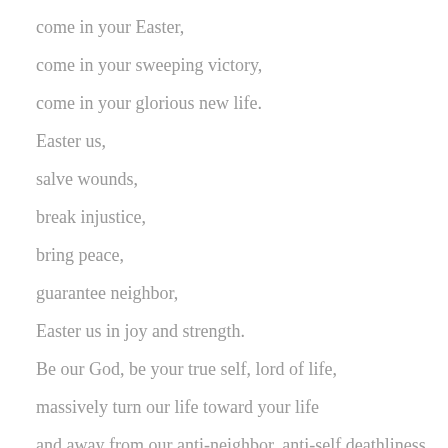come in your Easter,
come in your sweeping victory,
come in your glorious new life.
Easter us,
salve wounds,
break injustice,
bring peace,
guarantee neighbor,
Easter us in joy and strength.
Be our God, be your true self, lord of life,
massively turn our life toward your life
and away from our anti-neighbor, anti-self deathliness.